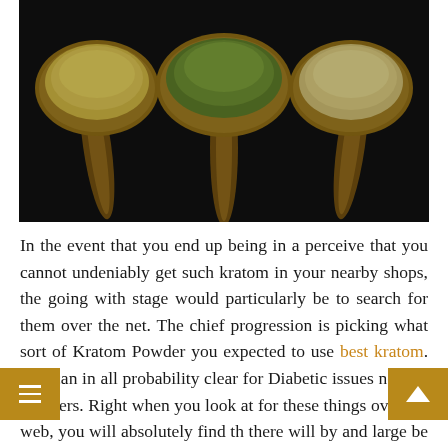[Figure (photo): Three wooden spoons each holding different colored kratom powder (tan/gold, green, tan/beige) arranged side by side on a dark black textured surface.]
In the event that you end up being in a perceive that you cannot undeniably get such kratom in your nearby shops, the going with stage would particularly be to search for them over the net. The chief progression is picking what sort of Kratom Powder you expected to use best kratom. You can in all probability clear for Diabetic issues normal powders. Right when you look at for these things over the web, you will absolutely find that there will by and large be bunches of results